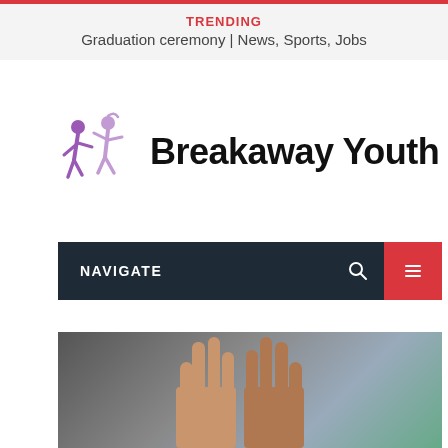TRENDING
Graduation ceremony | News, Sports, Jobs
[Figure (logo): Breakaway Youth logo with purple figures and bold text]
Breakaway Youth
NAVIGATE
[Figure (photo): Hands raised upward against a grey/teal background]